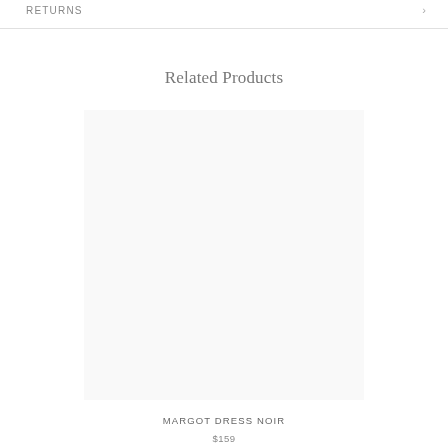RETURNS
Related Products
[Figure (photo): Product image placeholder area for Margot Dress Noir]
MARGOT DRESS NOIR
$159